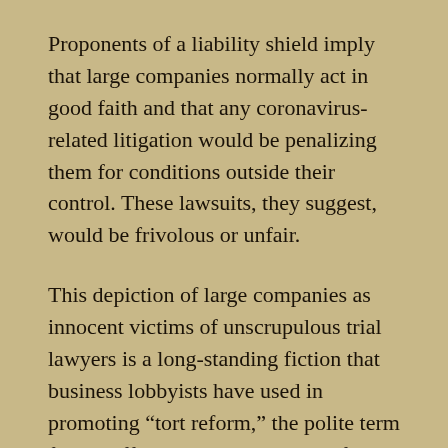Proponents of a liability shield imply that large companies normally act in good faith and that any coronavirus-related litigation would be penalizing them for conditions outside their control. These lawsuits, they suggest, would be frivolous or unfair.
This depiction of large companies as innocent victims of unscrupulous trial lawyers is a long-standing fiction that business lobbyists have used in promoting “tort reform,” the polite term for the effort to limit the ability of victims of corporate misconduct to seek redress through the civil justice system. That campaign has not been more successful because most people realize that corporate negligence is a